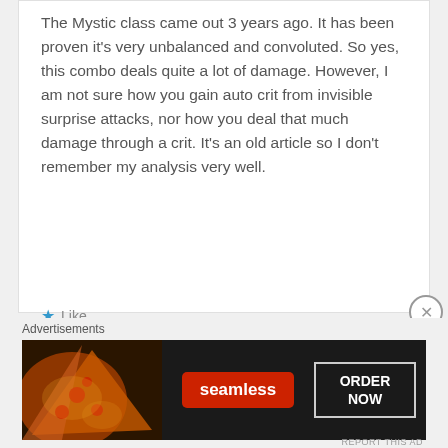The Mystic class came out 3 years ago. It has been proven it's very unbalanced and convoluted. So yes, this combo deals quite a lot of damage. However, I am not sure how you gain auto crit from invisible surprise attacks, nor how you deal that much damage through a crit. It's an old article so I don't remember my analysis very well.
★ Like
REPLY ↩
Advertisements
[Figure (screenshot): Seamless food delivery advertisement banner with pizza image on the left, red Seamless logo badge in the center, and 'ORDER NOW' button on the right, on a dark background.]